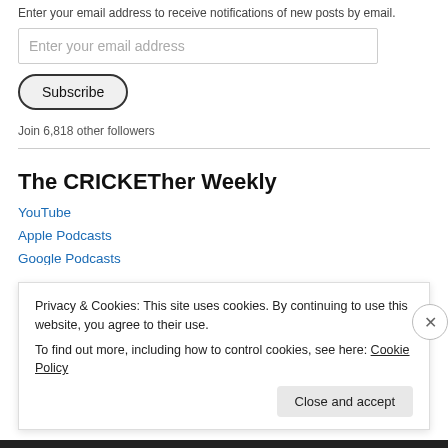Enter your email address to receive notifications of new posts by email.
Enter your email address
Subscribe
Join 6,818 other followers
The CRICKETher Weekly
YouTube
Apple Podcasts
Privacy & Cookies: This site uses cookies. By continuing to use this website, you agree to their use.
To find out more, including how to control cookies, see here: Cookie Policy
Close and accept